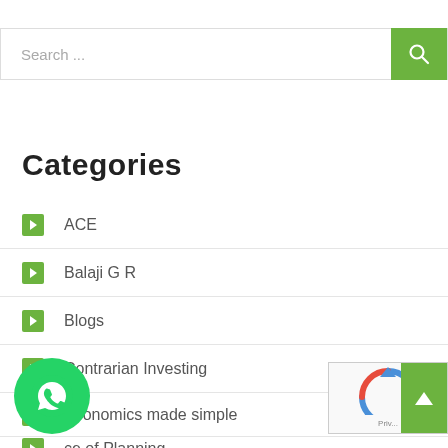[Figure (screenshot): Search bar with green search button and magnifier icon]
Categories
ACE
Balaji G R
Blogs
Contrarian Investing
Economics made simple
ce of Planning
Estate Planning
[Figure (logo): WhatsApp floating button (green circle with phone icon)]
[Figure (screenshot): reCAPTCHA widget snippet with Priv... text and green up arrow button]